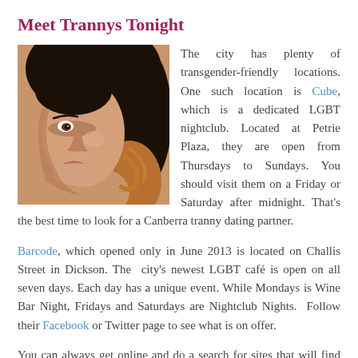Meet Trannys Tonight
[Figure (photo): Close-up portrait photo of a young woman with dark wavy hair, looking to the side with a slight over-the-shoulder glance.]
The city has plenty of transgender-friendly locations. One such location is Cube, which is a dedicated LGBT nightclub. Located at Petrie Plaza, they are open from Thursdays to Sundays. You should visit them on a Friday or Saturday after midnight. That's the best time to look for a Canberra tranny dating partner.
Barcode, which opened only in June 2013 is located on Challis Street in Dickson. The city's newest LGBT café is open on all seven days. Each day has a unique event. While Mondays is Wine Bar Night, Fridays and Saturdays are Nightclub Nights. Follow their Facebook or Twitter page to see what is on offer.
You can always get online and do a search for sites that will find you a fun Canberra tranny dating experience.